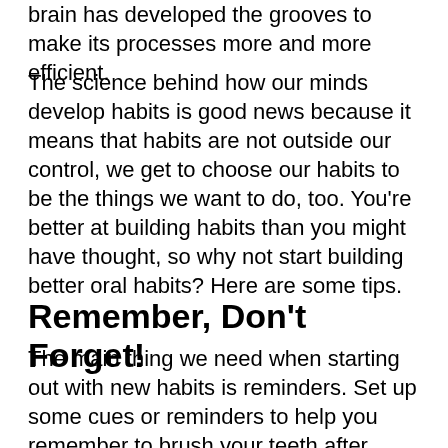brain has developed the grooves to make its processes more and more efficient.
The science behind how our minds develop habits is good news because it means that habits are not outside our control, we get to choose our habits to be the things we want to do, too. You're better at building habits than you might have thought, so why not start building better oral habits? Here are some tips.
Remember, Don't Forget!
The main thing we need when starting out with new habits is reminders. Set up some cues or reminders to help you remember to brush your teeth after meals, before bed, and to include all the habits you'd like to develop such as brushing for a full 2 minutes and